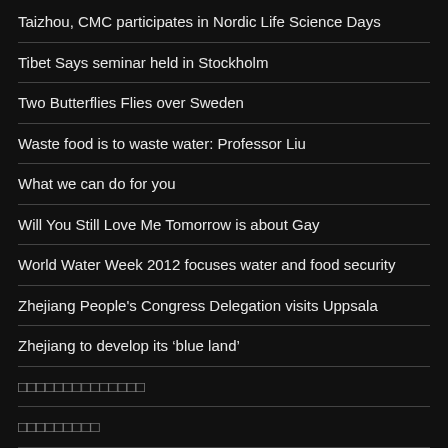Taizhou, CMC participates in Nordic Life Science Days
Tibet Says seminar held in Stockholm
Two Butterflies Flies over Sweden
Waste food is to waste water: Professor Liu
What we can do for you
Will You Still Love Me Tomorrow is about Gay
World Water Week 2012 focuses water and food security
Zhejiang People's Congress Delegation visits Uppsala
Zhejiang to develop its ‘blue land’
□□□□□□□□□□□□□□
□□□□□□□□□
□□□□□□20□□□□□□□□□□
□□□□□□□□□□